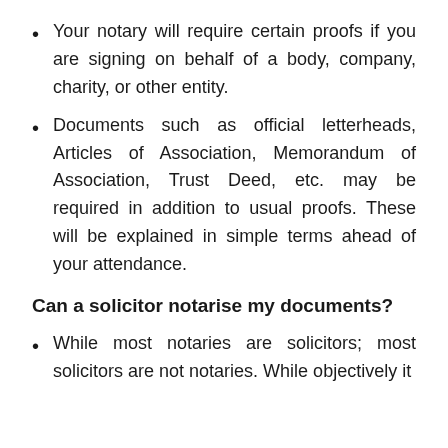Your notary will require certain proofs if you are signing on behalf of a body, company, charity, or other entity.
Documents such as official letterheads, Articles of Association, Memorandum of Association, Trust Deed, etc. may be required in addition to usual proofs. These will be explained in simple terms ahead of your attendance.
Can a solicitor notarise my documents?
While most notaries are solicitors; most solicitors are not notaries. While objectively it